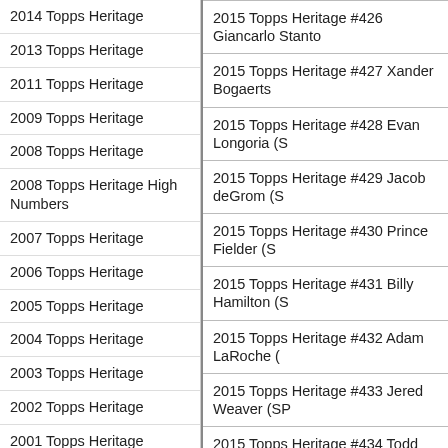2014 Topps Heritage
2013 Topps Heritage
2011 Topps Heritage
2009 Topps Heritage
2008 Topps Heritage
2008 Topps Heritage High Numbers
2007 Topps Heritage
2006 Topps Heritage
2005 Topps Heritage
2004 Topps Heritage
2003 Topps Heritage
2002 Topps Heritage
2001 Topps Heritage
Topps Heritage Auto Cards
Topps Heritage Checklists
Topps Heritage Home
2020 Topps Heritage Checklist
2019 Topps Heritage High Numbers
2018 Topps Heritage High Numbers Checklist
2015 Topps Heritage #426 Giancarlo Stanto
2015 Topps Heritage #427 Xander Bogaerts
2015 Topps Heritage #428 Evan Longoria (S
2015 Topps Heritage #429 Jacob deGrom (S
2015 Topps Heritage #430 Prince Fielder (S
2015 Topps Heritage #431 Billy Hamilton (S
2015 Topps Heritage #432 Adam LaRoche (
2015 Topps Heritage #433 Jered Weaver (SP
2015 Topps Heritage #434 Todd Frazier (SP
2015 Topps Heritage #435 Gregory Polanco
2015 Topps Heritage #436 Justin Upton (SP
2015 Topps Heritage #437 Josh Hamilton (S
2015 Topps Heritage #438 Hanley Ramirez